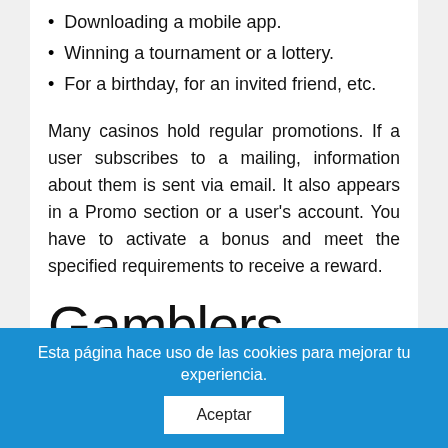Downloading a mobile app.
Winning a tournament or a lottery.
For a birthday, for an invited friend, etc.
Many casinos hold regular promotions. If a user subscribes to a mailing, information about them is sent via email. It also appears in a Promo section or a user's account. You have to activate a bonus and meet the specified requirements to receive a reward.
Gamblers have to win back any
Esta página hace uso de las cookies para mejorar tu experiencia.